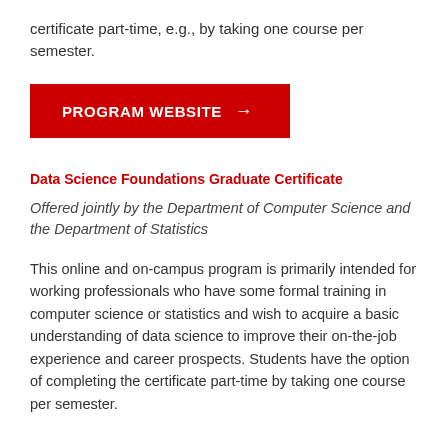certificate part-time, e.g., by taking one course per semester.
[Figure (other): Red button labeled PROGRAM WEBSITE with right arrow]
Data Science Foundations Graduate Certificate
Offered jointly by the Department of Computer Science and the Department of Statistics
This online and on-campus program is primarily intended for working professionals who have some formal training in computer science or statistics and wish to acquire a basic understanding of data science to improve their on-the-job experience and career prospects. Students have the option of completing the certificate part-time by taking one course per semester.